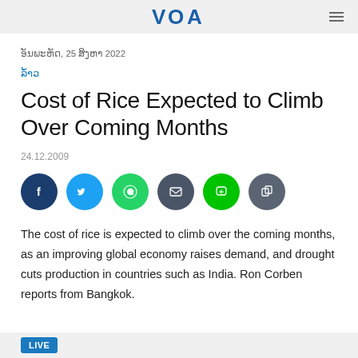VOA
ອັນພະຫັດ, 25 ສິງຫາ 2022
ລ້ຳວ
Cost of Rice Expected to Climb Over Coming Months
24.12.2009
[Figure (infographic): Social media share buttons: Facebook, Twitter, WhatsApp, Email, Line, Copy]
The cost of rice is expected to climb over the coming months, as an improving global economy raises demand, and drought cuts production in countries such as India. Ron Corben reports from Bangkok.
LIVE